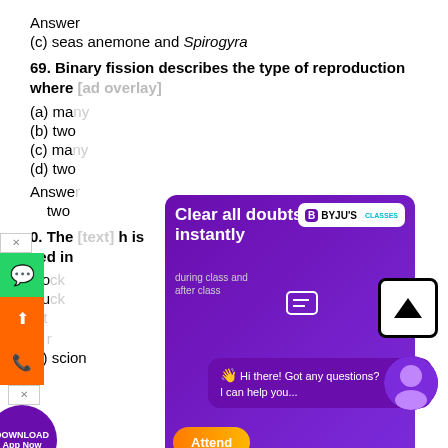Answer
(c) seas anemone and Spirogyra
69. Binary fission describes the type of reproduction where [text obscured by ad]
(a) ma[ny parts]
(b) two [parts]
(c) ma[ny parts]
(d) two [parts]
Answer
(b) two [parts]
70. The [text obscured] h is sed in [text obscured]
(a) sto[ck]
(b) stu[ck]
(c) scion
(d) art[ificial propagation]
Answer
(c) scion
[Figure (advertisement): BYJU'S Classes advertisement overlay: purple background, 'Clear all doubts instantly during class and after class', with student and teacher images, 'Attend' button, and chat bubble saying 'Hi there! Got any questions? I can help you...']